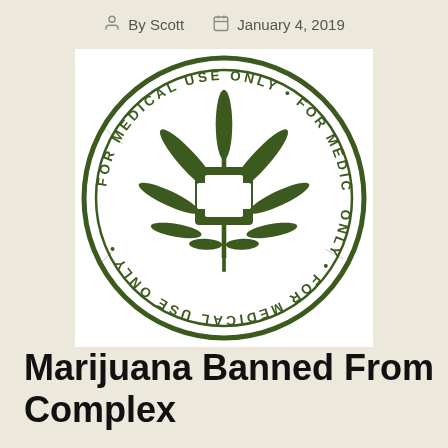By Scott   January 4, 2019
[Figure (illustration): Circular stamp graphic in dark olive green on white background. Features a cannabis/marijuana leaf with a medical cross symbol in the center. Around the circle reads 'FOR MEDICAL USE ONLY' repeated multiple times (including upside down at the bottom).]
Marijuana Banned From Complex